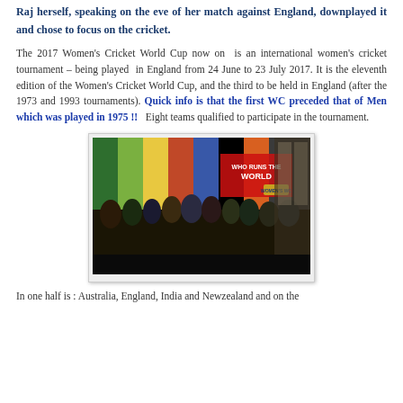Raj herself, speaking on the eve of her match against England, downplayed it and chose to focus on the cricket.
The 2017 Women's Cricket World Cup now on is an international women's cricket tournament – being played in England from 24 June to 23 July 2017. It is the eleventh edition of the Women's Cricket World Cup, and the third to be held in England (after the 1973 and 1993 tournaments). Quick info is that the first WC preceded that of Men which was played in 1975 !!  Eight teams qualified to participate in the tournament.
[Figure (photo): Group photo of women cricket team captains at the 2017 Women's Cricket World Cup launch event, with a colorful banner reading 'WHO RUNS THE WORLD' in the background]
In one half is : Australia, England, India and Newzealand and on the